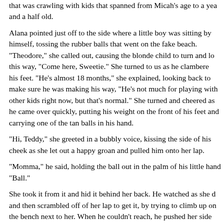"which one is yours?" he asked, motioning back to the playground that was crawling with kids that spanned from Micah's age to a year and a half old.
Alana pointed just off to the side where a little boy was sitting by himself, tossing the rubber balls that went on the fake beach. "Theodore," she called out, causing the blonde child to turn and look this way, "Come here, Sweetie." She turned to us as he clambered to his feet. "He's almost 18 months," she explained, looking back to make sure he was making his way, "He's not much for playing with other kids right now, but that's normal." She turned and cheered as he came over quickly, putting his weight on the front of his feet and carrying one of the tan balls in his hand.
"Hi, Teddy," she greeted in a bubbly voice, kissing the side of his cheek as she let out a happy groan and pulled him onto her lap.
"Momma," he said, holding the ball out in the palm of his little hand. "Ball."
She took it from it and hid it behind her back. He watched as she did and then scrambled off of her lap to get it, by trying to climb up on the bench next to her. When he couldn't reach, he pushed her side to no avail and then gave her a look that stopped me short.
"Me ball," he complaining, holding his hand out to get his toy back. "Momma. Me."